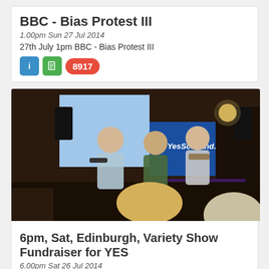BBC - Bias Protest III
1.00pm Sun 27 Jul 2014
27th July 1pm BBC - Bias Protest III
8917
[Figure (photo): Musicians performing at an indoor event venue with a YesScotland.net banner in the background. Three men visible, two playing instruments. Audience members visible in foreground.]
6pm, Sat, Edinburgh, Variety Show Fundraiser for YES
6.00pm Sat 26 Jul 2014
Upstairs at Ryrie's, 1 Haymarket Terrace, EH125EY Edinburgh
115